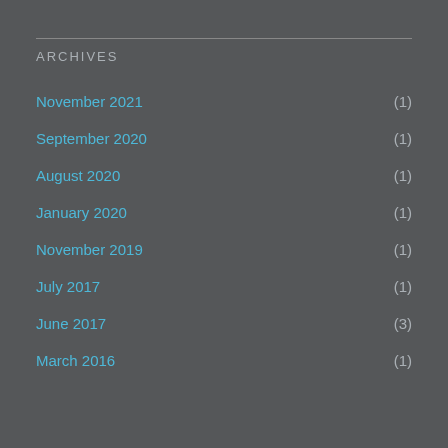ARCHIVES
November 2021 (1)
September 2020 (1)
August 2020 (1)
January 2020 (1)
November 2019 (1)
July 2017 (1)
June 2017 (3)
March 2016 (1)